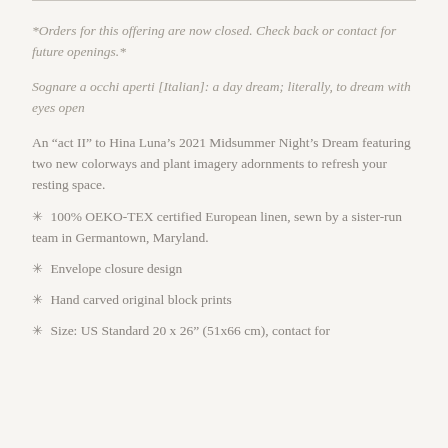*Orders for this offering are now closed. Check back or contact for future openings.*
Sognare a occhi aperti [Italian]: a day dream; literally, to dream with eyes open
An “act II” to Hina Luna’s 2021 Midsummer Night’s Dream featuring two new colorways and plant imagery adornments to refresh your resting space.
* 100% OEKO-TEX certified European linen, sewn by a sister-run team in Germantown, Maryland.
* Envelope closure design
* Hand carved original block prints
* Size: US Standard 20 x 26” (51x66 cm), contact for